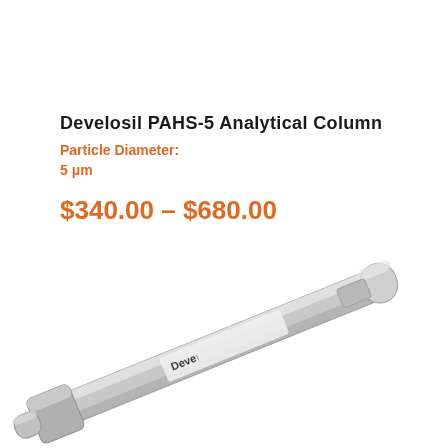Develosil PAHS-5 Analytical Column
Particle Diameter: 5 μm
$340.00 – $680.00
[Figure (photo): HPLC analytical column with stainless steel body and end fittings, with a Develosil label visible on the column body, shown at an angle against a white background.]